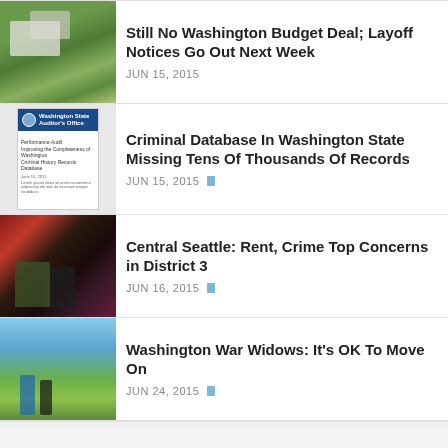[Figure (photo): Aerial view of a green campus with buildings, likely Washington State Capitol]
Still No Washington Budget Deal; Layoff Notices Go Out Next Week
JUN 15, 2015
[Figure (photo): Cover of Washington State Auditor's Office Performance Audit report on improving completeness of Washington Criminal History Records Database]
Criminal Database In Washington State Missing Tens Of Thousands Of Records
JUN 15, 2015
[Figure (photo): Two people sitting together in a bar or nightclub setting with colorful lighting]
Central Seattle: Rent, Crime Top Concerns in District 3
JUN 16, 2015
[Figure (photo): Three women standing outdoors in a field under blue sky]
Washington War Widows: It's OK To Move On
JUN 24, 2015